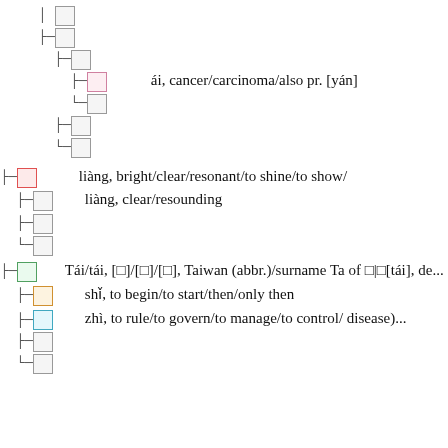ái, cancer/carcinoma/also pr. [yán]
liàng, bright/clear/resonant/to shine/to show/
liàng, clear/resounding
Tái/tái, [□]/[□]/[□], Taiwan (abbr.)/surname Ta of □|□[tái], de...
shǐ, to begin/to start/then/only then
zhì, to rule/to govern/to manage/to control/ disease)...